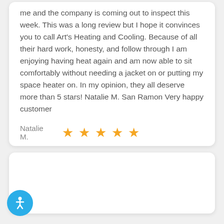me and the company is coming out to inspect this week. This was a long review but I hope it convinces you to call Art's Heating and Cooling. Because of all their hard work, honesty, and follow through I am enjoying having heat again and am now able to sit comfortably without needing a jacket on or putting my space heater on. In my opinion, they all deserve more than 5 stars! Natalie M. San Ramon Very happy customer
Natalie M. ★★★★★
[Figure (other): Accessibility icon button (circular blue button with person/wheelchair symbol)]